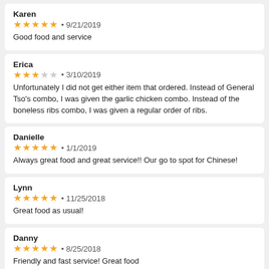Karen
★★★★★ • 9/21/2019
Good food and service
Erica
★★★☆☆ • 3/10/2019
Unfortunately I did not get either item that ordered. Instead of General Tso's combo, I was given the garlic chicken combo. Instead of the boneless ribs combo, I was given a regular order of ribs.
Danielle
★★★★★ • 1/1/2019
Always great food and great service!! Our go to spot for Chinese!
Lynn
★★★★★ • 11/25/2018
Great food as usual!
Danny
★★★★★ • 8/25/2018
Friendly and fast service! Great food
Danielle
★★★★★ • 7/25/2018
Great food!!